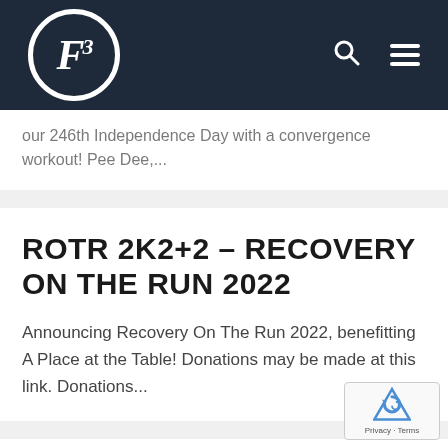F3 logo with search and menu icons
our 246th Independence Day with a convergence workout! Pee Dee,...
ROTR 2K2+2 – RECOVERY ON THE RUN 2022
Announcing Recovery On The Run 2022, benefitting A Place at the Table! Donations may be made at this link. Donations...
MENTORING OPPORTUNITY